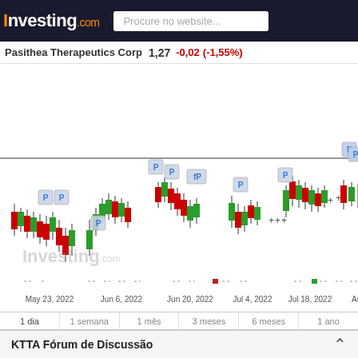Investing.com — Procure no website...
Pasithea Therapeutics Corp  1,27  -0,02  (-1,55%)
[Figure (continuous-plot): Candlestick chart for Pasithea Therapeutics Corp (KTTA) from approximately May 23, 2022 to Aug 2022. Chart shows green and red candlesticks with wicks, annotation markers labeled 'P' and 'fP' scattered above candlesticks, a horizontal resistance line, and small dashed indicators at the bottom. X-axis labels: May 23, 2022 / Jun 6, 2022 / Jun 20, 2022 / Jul 4, 2022 / Jul 18, 2022 / Aug. Investing.com watermark visible.]
1 dia  1 semana  1 mês  3 meses  6 meses  1 ano
KTTA Fórum de Discussão